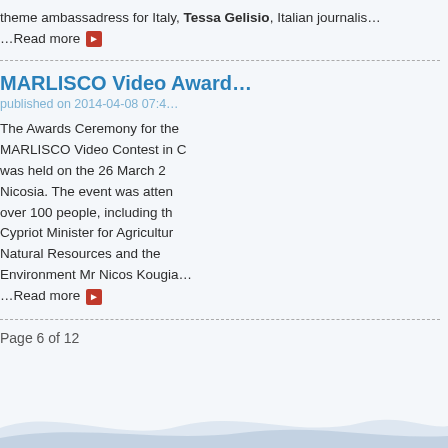theme ambassadress for Italy, Tessa Gelisio, Italian journalist …Read more
MARLISCO Video Award
published on 2014-04-08 07:4
The Awards Ceremony for the MARLISCO Video Contest in C was held on the 26 March 2 Nicosia. The event was atten over 100 people, including th Cypriot Minister for Agricultur Natural Resources and the Environment Mr Nicos Kougia …Read more
Page 6 of 12